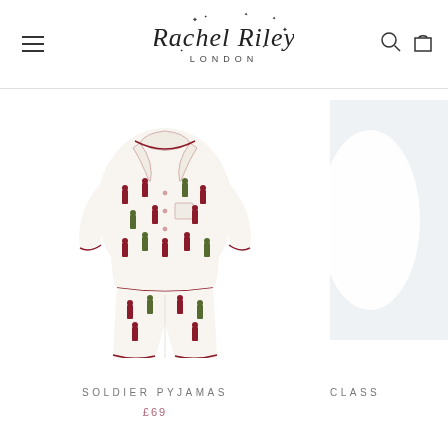Rachel Riley London — navigation header with logo, hamburger menu, search and cart icons
[Figure (photo): Children's white pyjama set with red soldier print pattern, consisting of a long-sleeve button-up top with collar and breast pocket trimmed in red, and matching trousers, displayed flat on a white background]
SOLDIER PYJAMAS
£69
CLASS